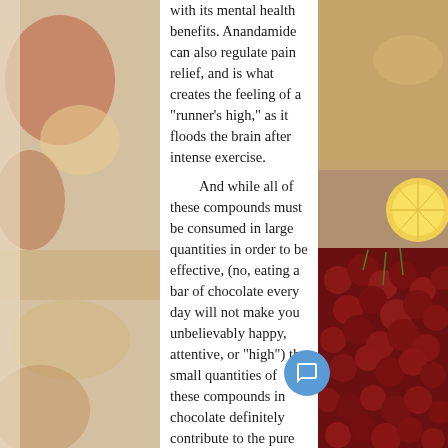[Figure (photo): Left side decorative photo strip showing food items including what appears to be fruits and pastries in warm tones]
with its mental health benefits. Anandamide can also regulate pain relief, and is what creates the feeling of a "runner's high," as it floods the brain after intense exercise.

And while all of these compounds must be consumed in large quantities in order to be effective, (no, eating a bar of chocolate every day will not make you unbelievably happy, attentive, or "high") the small quantities of these compounds in chocolate definitely contribute to the pure joy of eating chocolate. After all, there must be some reason behind why people eat chocolate when they get cramps, and Professor Lupin knew what he was doing when he told Harry to eat chocolate after a
[Figure (photo): Right side decorative photo strip showing cherries and a lemon/citrus slice on a dark wooden surface]